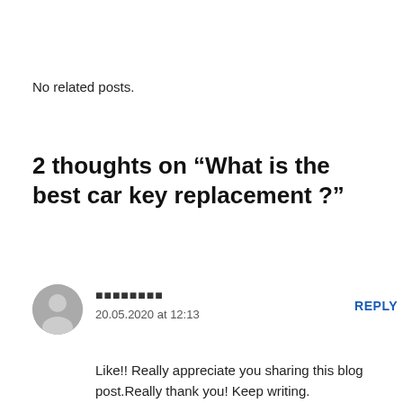No related posts.
2 thoughts on “What is the best car key replacement ?”
■■■■■■■■
20.05.2020 at 12:13
REPLY
Like!! Really appreciate you sharing this blog post.Really thank you! Keep writing.